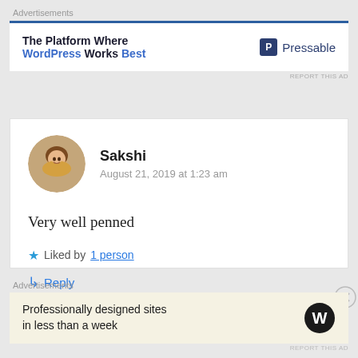Advertisements
[Figure (screenshot): Advertisement banner for Pressable: 'The Platform Where WordPress Works Best' with Pressable logo on right, blue top border]
Sakshi
August 21, 2019 at 1:23 am
Very well penned
★ Liked by 1 person
↳ Reply
Advertisements
[Figure (screenshot): Advertisement for WordPress: 'Professionally designed sites in less than a week' with WordPress logo on right, beige background]